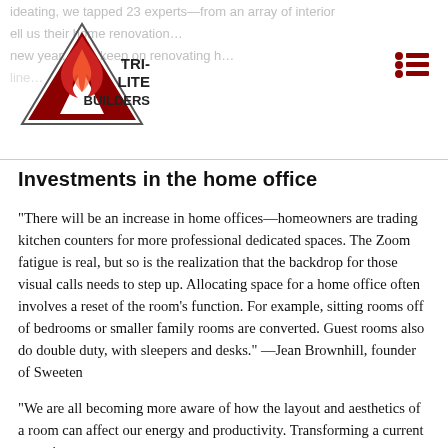ideating, we tapped 23 experts—from an array of interior... ell us their home renovation... new year. Let's keep on renovating h... line...
[Figure (logo): Tri-Lite Builders logo: triangle with flame icon and text TRI-LITE BUILDERS]
Investments in the home office
"There will be an increase in home offices—homeowners are trading kitchen counters for more professional dedicated spaces. The Zoom fatigue is real, but so is the realization that the backdrop for those visual calls needs to step up. Allocating space for a home office often involves a reset of the room's function. For example, sitting rooms off of bedrooms or smaller family rooms are converted. Guest rooms also do double duty, with sleepers and desks." —Jean Brownhill, founder of Sweeten
"We are all becoming more aware of how the layout and aesthetics of a room can affect our energy and productivity. Transforming a current room into your new